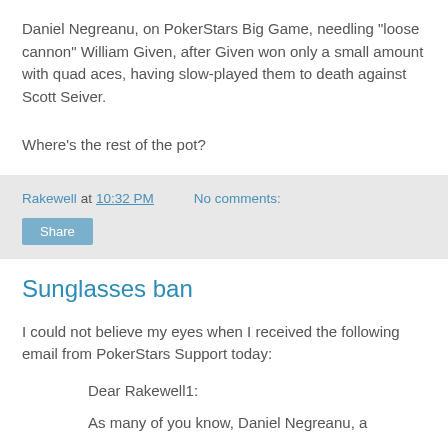Daniel Negreanu, on PokerStars Big Game, needling "loose cannon" William Given, after Given won only a small amount with quad aces, having slow-played them to death against Scott Seiver.
Where's the rest of the pot?
Rakewell at 10:32 PM   No comments:
Share
Sunglasses ban
I could not believe my eyes when I received the following email from PokerStars Support today:
Dear Rakewell1:
As many of you know, Daniel Negreanu, a